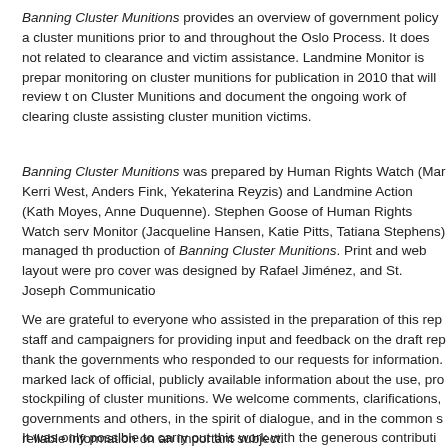Banning Cluster Munitions provides an overview of government policy and positions on cluster munitions prior to and throughout the Oslo Process. It does not include issues related to clearance and victim assistance. Landmine Monitor is preparing a comprehensive monitoring on cluster munitions for publication in 2010 that will review the Convention on Cluster Munitions and document the ongoing work of clearing cluster munitions and assisting cluster munition victims.
Banning Cluster Munitions was prepared by Human Rights Watch (Mary Wareham, Kerri West, Anders Fink, Yekaterina Reyzis) and Landmine Action (Katherine Harrison, Richard Moyes, Anne Duquenne). Stephen Goose of Human Rights Watch served as editor. Landmine Monitor (Jacqueline Hansen, Katie Pitts, Tatiana Stephens) managed the research and production of Banning Cluster Munitions. Print and web layout were produced by Scott Weathers; cover was designed by Rafael Jiménez, and St. Joseph Communications printed the report.
We are grateful to everyone who assisted in the preparation of this report, including ICBL staff and campaigners for providing input and feedback on the draft report. We especially thank the governments who responded to our requests for information. There continues to be a marked lack of official, publicly available information about the use, production, transfer, and stockpiling of cluster munitions. We welcome comments, clarifications, and corrections from governments and others, in the spirit of dialogue, and in the common search for accurate and reliable information on an important subject.
It was only possible to carry out this work with the generous contributions